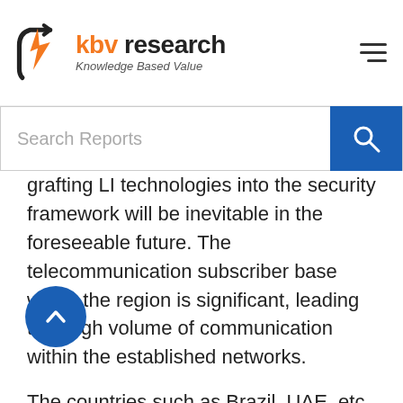[Figure (logo): KBV Research logo with orange lightning bolt graphic and text 'kbv research Knowledge Based Value']
Search Reports
grafting LI technologies into the security framework will be inevitable in the foreseeable future. The telecommunication subscriber base within the region is significant, leading to a high volume of communication within the established networks.
The countries such as Brazil, UAE, etc. are driving the interception activities in the region. However, some Middle Eastern and African countries, due to limited acceptance of the technology, are limiting the market g... The countries such as Brazil, Australia, UAE, etc. from LAMEA region have efficient communication networks. The regions with limited connectivity are also
[Figure (illustration): Blue circular back-to-top button with upward chevron arrow]